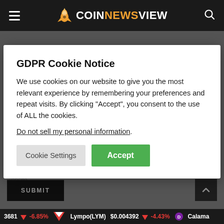COINNEWSVIEW
GDPR Cookie Notice
We use cookies on our website to give you the most relevant experience by remembering your preferences and repeat visits. By clicking “Accept”, you consent to the use of ALL the cookies.
Do not sell my personal information.
Cookie Settings  Accept
By using this form you agree with the storage and handling of your data by this website.
3681  -6.85%  Lympo(LYM) $0.004392  -4.43%  Calama